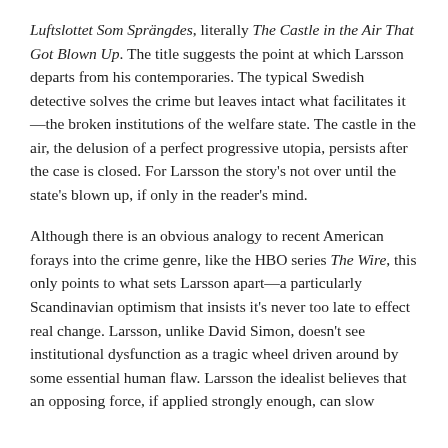Luftslottet Som Sprängdes, literally The Castle in the Air That Got Blown Up. The title suggests the point at which Larsson departs from his contemporaries. The typical Swedish detective solves the crime but leaves intact what facilitates it—the broken institutions of the welfare state. The castle in the air, the delusion of a perfect progressive utopia, persists after the case is closed. For Larsson the story's not over until the state's blown up, if only in the reader's mind.
Although there is an obvious analogy to recent American forays into the crime genre, like the HBO series The Wire, this only points to what sets Larsson apart—a particularly Scandinavian optimism that insists it's never too late to effect real change. Larsson, unlike David Simon, doesn't see institutional dysfunction as a tragic wheel driven around by some essential human flaw. Larsson the idealist believes that an opposing force, if applied strongly enough, can slow